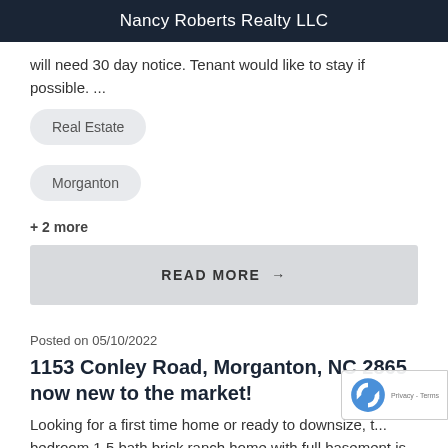Nancy Roberts Realty LLC
will need 30 day notice. Tenant would like to stay if possible. ...
Real Estate
Morganton
+ 2 more
READ MORE →
Posted on 05/10/2022
1153 Conley Road, Morganton, NC 2865 now new to the market!
Looking for a first time home or ready to downsize, t... bedroom 1.5 bath brick ranch home with full basement is